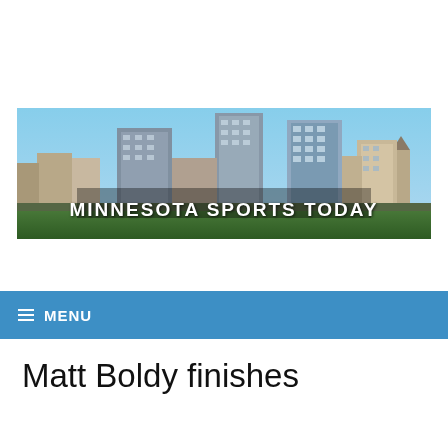[Figure (photo): Banner image of the Minneapolis skyline with text 'MINNESOTA SPORTS TODAY' overlaid in white bold letters at the bottom center.]
≡ MENU
Matt Boldy finishes